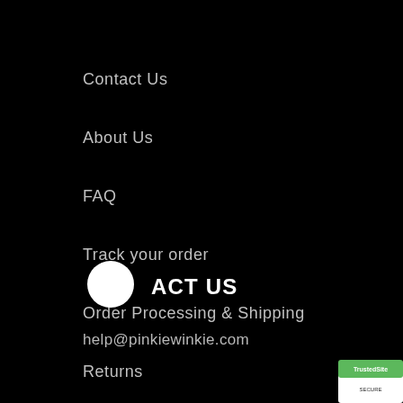Contact Us
About Us
FAQ
Track your order
Order Processing & Shipping
Returns
VIP Rewards
ACT US
help@pinkiewinkie.com